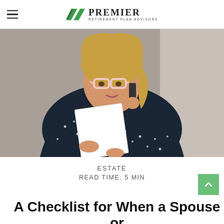PREMIER RETIREMENT PLAN ADVISORS
[Figure (photo): Older blonde woman with pink glasses talking on a phone while holding and reading a document, wearing a dark navy polka-dot blouse, with a light background]
ESTATE
READ TIME: 5 MIN
A Checklist for When a Spouse or